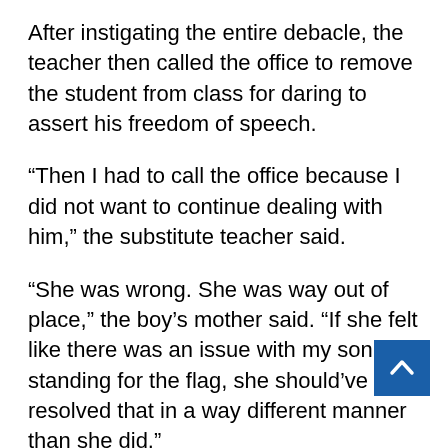After instigating the entire debacle, the teacher then called the office to remove the student from class for daring to assert his freedom of speech.
“Then I had to call the office because I did not want to continue dealing with him,” the substitute teacher said.
“She was wrong. She was way out of place,” the boy’s mother said. “If she felt like there was an issue with my son not standing for the flag, she should’ve resolved that in a way different manner than she did.”
When the student refused to be bullied by a